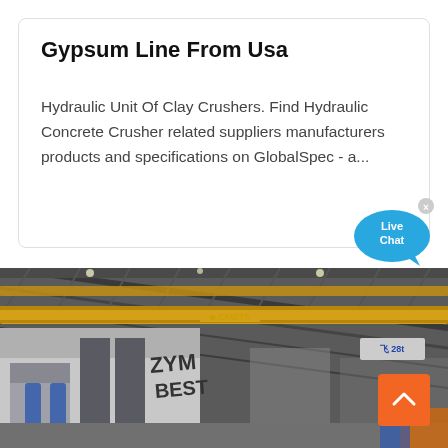Gypsum Line From Usa
Hydraulic Unit Of Clay Crushers. Find Hydraulic Concrete Crusher related suppliers manufacturers products and specifications on GlobalSpec - a...
[Figure (photo): Industrial factory interior showing yellow overhead crane bridge and large industrial machinery (press or crusher) with logo markings, inside a steel-framed warehouse.]
[Figure (other): Live Chat speech bubble button overlay in blue color with text 'Live Chat' and an X close button.]